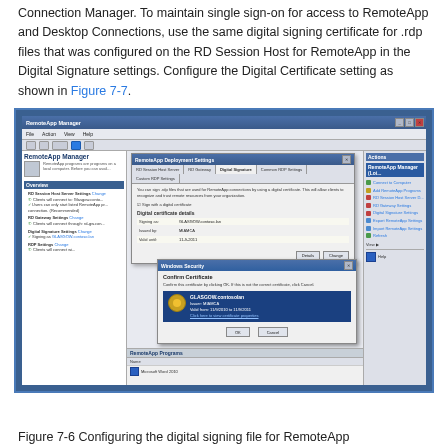Connection Manager. To maintain single sign-on for access to RemoteApp and Desktop Connections, use the same digital signing certificate for .rdp files that was configured on the RD Session Host for RemoteApp in the Digital Signature settings. Configure the Digital Certificate setting as shown in Figure 7-7.
[Figure (screenshot): Screenshot of RemoteApp Manager application showing Digital Signature settings dialog with certificate details for GLASGOW.contoso.lan, and a Windows Security Confirm Certificate dialog overlay showing GLASGOW.contosolan certificate issued by MIAMCA with validity dates.]
Figure 7-6 Configuring the digital signing file for RemoteApp